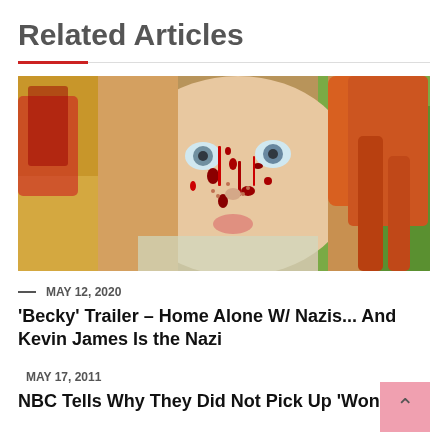Related Articles
[Figure (photo): Close-up photo of a young woman with blood splattered on her face, wearing an orange knitted hat with braids, looking intensely at the camera. Background shows greenery and yellow elements.]
— MAY 12, 2020
'Becky' Trailer – Home Alone W/ Nazis... And Kevin James Is the Nazi
— MAY 17, 2011
NBC Tells Why They Did Not Pick Up 'Wonder